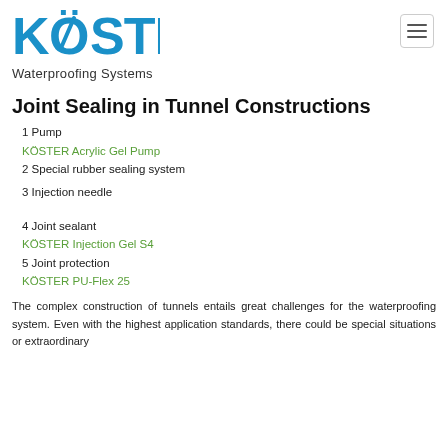KÖSTER Waterproofing Systems
Joint Sealing in Tunnel Constructions
1 Pump
KÖSTER Acrylic Gel Pump
2 Special rubber sealing system
3 Injection needle
4 Joint sealant
KÖSTER Injection Gel S4
5 Joint protection
KÖSTER PU-Flex 25
The complex construction of tunnels entails great challenges for the waterproofing system. Even with the highest application standards, there could be special situations or extraordinary